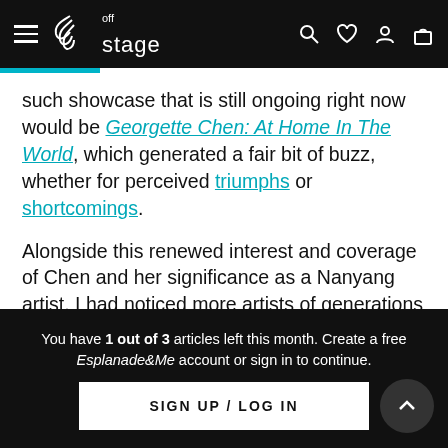off stage [navigation bar with hamburger menu, logo, search, heart, user, bag icons]
such showcase that is still ongoing right now would be Georgette Chen: At Home In The World, which generated a fair bit of buzz, whether for perceived triumphs or shortcomings.
Alongside this renewed interest and coverage of Chen and her significance as a Nanyang artist, I had noticed more artists of generations past making somewhat of a return. Lim Tze Peng's video with media platform Mothership.sg gained traction on
You have 1 out of 3 articles left this month. Create a free Esplanade&Me account or sign in to continue. SIGN UP / LOG IN